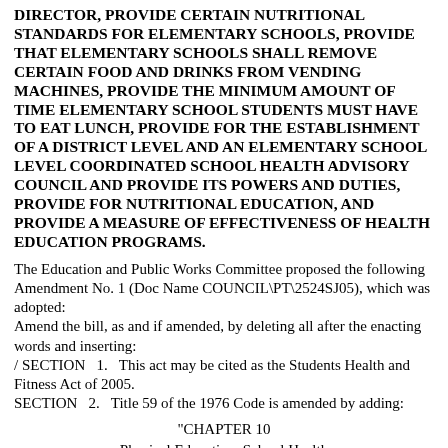DIRECTOR, PROVIDE CERTAIN NUTRITIONAL STANDARDS FOR ELEMENTARY SCHOOLS, PROVIDE THAT ELEMENTARY SCHOOLS SHALL REMOVE CERTAIN FOOD AND DRINKS FROM VENDING MACHINES, PROVIDE THE MINIMUM AMOUNT OF TIME ELEMENTARY SCHOOL STUDENTS MUST HAVE TO EAT LUNCH, PROVIDE FOR THE ESTABLISHMENT OF A DISTRICT LEVEL AND AN ELEMENTARY SCHOOL LEVEL COORDINATED SCHOOL HEALTH ADVISORY COUNCIL AND PROVIDE ITS POWERS AND DUTIES, PROVIDE FOR NUTRITIONAL EDUCATION, AND PROVIDE A MEASURE OF EFFECTIVENESS OF HEALTH EDUCATION PROGRAMS.
The Education and Public Works Committee proposed the following Amendment No. 1 (Doc Name COUNCIL\PT\2524SJ05), which was adopted:
Amend the bill, as and if amended, by deleting all after the enacting words and inserting:
/ SECTION   1.   This act may be cited as the Students Health and Fitness Act of 2005.
SECTION   2.   Title 59 of the 1976 Code is amended by adding:
"CHAPTER 10
Physical Education, School Health
Services, and Nutritional Standards
Article 1